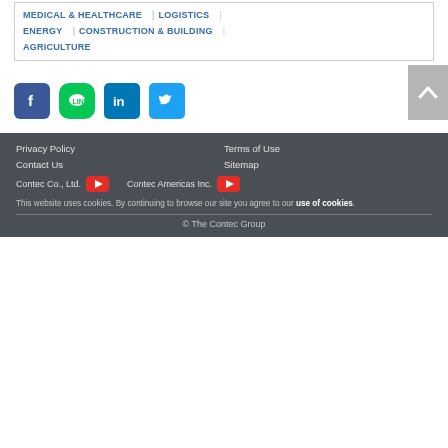MEDICAL & HEALTHCARE | LOGISTICS
ENERGY | CONSTRUCTION & BUILDING |
AGRICULTURE
[Figure (infographic): Social media icons row: Facebook, LINE, LinkedIn, Twitter, and a scroll-to-top arrow button]
Privacy Policy   Terms of Use   Contact Us   Sitemap   Contec Co., Ltd. [YouTube]   Contec Americas Inc. [YouTube]   This website uses cookies. By continuing to browse our site you agree to our use of cookies.   © The Contec Group